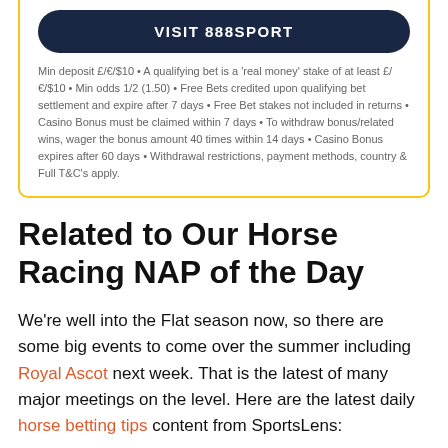VISIT 888SPORT
Min deposit £/€/$10 • A qualifying bet is a 'real money' stake of at least £/€/$10 • Min odds 1/2 (1.50) • Free Bets credited upon qualifying bet settlement and expire after 7 days • Free Bet stakes not included in returns • Casino Bonus must be claimed within 7 days • To withdraw bonus/related wins, wager the bonus amount 40 times within 14 days • Casino Bonus expires after 60 days • Withdrawal restrictions, payment methods, country & Full T&C's apply.
Related to Our Horse Racing NAP of the Day
We're well into the Flat season now, so there are some big events to come over the summer including Royal Ascot next week. That is the latest of many major meetings on the level. Here are the latest daily horse betting tips content from SportsLens: